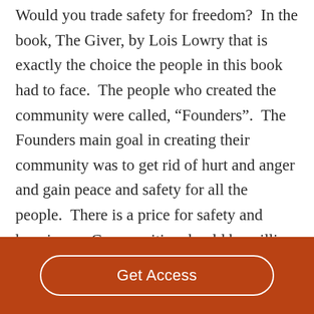Would you trade safety for freedom?  In the book, The Giver, by Lois Lowry that is exactly the choice the people in this book had to face.  The people who created the community were called, “Founders”.  The Founders main goal in creating their community was to get rid of hurt and anger and gain peace and safety for all the people.  There is a price for safety and happiness.  Communities should be willing to let go of some of their liberties in order to live in a more peaceful
Get Access